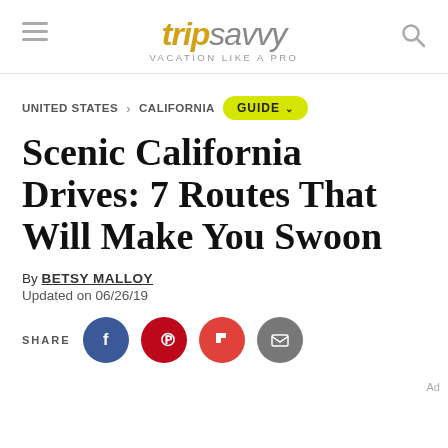tripsavvy — VACATION LIKE A PRO
UNITED STATES > CALIFORNIA  GUIDE
Scenic California Drives: 7 Routes That Will Make You Swoon
By BETSY MALLOY
Updated on 06/26/19
SHARE